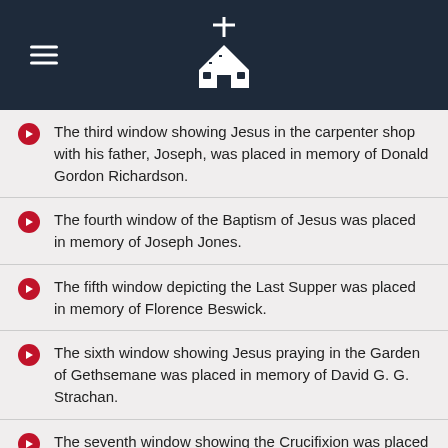Church page header with logo
The third window showing Jesus in the carpenter shop with his father, Joseph, was placed in memory of Donald Gordon Richardson.
The fourth window of the Baptism of Jesus was placed in memory of Joseph Jones.
The fifth window depicting the Last Supper was placed in memory of Florence Beswick.
The sixth window showing Jesus praying in the Garden of Gethsemane was placed in memory of David G. G. Strachan.
The seventh window showing the Crucifixion was placed in memory of Gordon and Sadie Alguire.